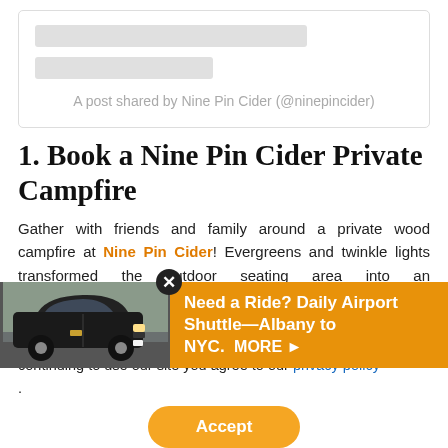[Figure (screenshot): Social media embed placeholder with two gray bars and Instagram-style caption text]
A post shared by Nine Pin Cider (@ninepincider)
1. Book a Nine Pin Cider Private Campfire
Gather with friends and family around a private wood campfire at Nine Pin Cider! Evergreens and twinkle lights transformed the outdoor seating area into an urban … next to a … at all
[Figure (screenshot): Advertisement overlay: dark SUV car image on left, orange background with text 'Need a Ride? Daily Airport Shuttle—Albany to NYC. MORE ▶' on right, with close (x) button]
Cookies are used for measurement, ads and optimization. By continuing to use our site you agree to our privacy policy .
Accept